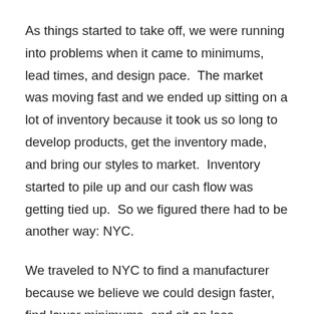As things started to take off, we were running into problems when it came to minimums, lead times, and design pace.  The market was moving fast and we ended up sitting on a lot of inventory because it took us so long to develop products, get the inventory made, and bring our styles to market.  Inventory started to pile up and our cash flow was getting tied up.  So we figured there had to be another way: NYC.
We traveled to NYC to find a manufacturer because we believe we could design faster, find lower minimums, and sit on less inventory.  Well, we found a better situation but we were going to still run into the same problems.  This is when we began to realize the whole industry operated in a way where you have to manufacture seasons ahead of time to